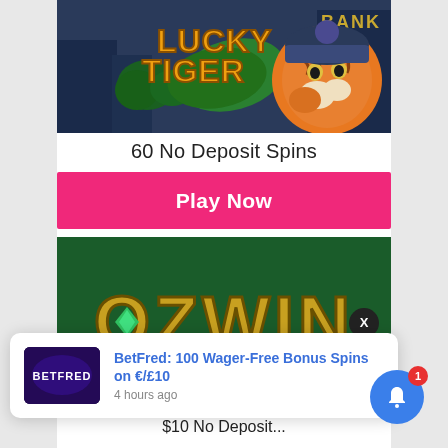[Figure (screenshot): Lucky Tiger casino banner with tiger character wearing a beanie hat, city background with 'BANK' sign, and stylized orange/yellow Lucky Tiger logo text]
60 No Deposit Spins
[Figure (screenshot): Pink/hot-pink button with white bold text 'Play Now']
[Figure (screenshot): OZWIN casino banner with dark green background and gold OZWIN logo text with gem accents, X close button on right side]
[Figure (screenshot): Notification popup at bottom: BetFred thumbnail image on left, blue link text 'BetFred: 100 Wager-Free Bonus Spins on €/£10', timestamp '4 hours ago']
$10 No Deposit...